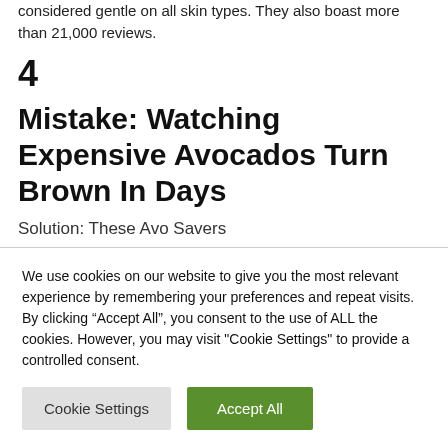considered gentle on all skin types. They also boast more than 21,000 reviews.
4
Mistake: Watching Expensive Avocados Turn Brown In Days
Solution: These Avo Savers
We use cookies on our website to give you the most relevant experience by remembering your preferences and repeat visits. By clicking “Accept All”, you consent to the use of ALL the cookies. However, you may visit "Cookie Settings" to provide a controlled consent.